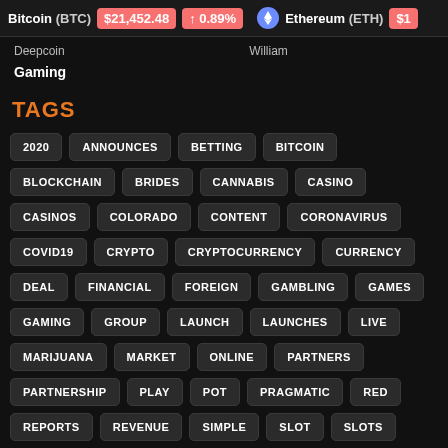Bitcoin (BTC) $21,452.48 ↑ 0.89% Ethereum (ETH) $1...
Gaming
TAGS
2020
ANNOUNCES
BETTING
BITCOIN
BLOCKCHAIN
BRIDES
CANNABIS
CASINO
CASINOS
COLORADO
CONTENT
CORONAVIRUS
COVID19
CRYPTO
CRYPTOCURRENCY
CURRENCY
DEAL
FINANCIAL
FOREIGN
GAMBLING
GAMES
GAMING
GROUP
LAUNCH
LAUNCHES
LIVE
MARIJUANA
MARKET
ONLINE
PARTNERS
PARTNERSHIP
PLAY
POT
PRAGMATIC
RED
REPORTS
REVENUE
SIMPLE
SLOT
SLOTS
SOLUTIONS
SPORTS
SUPPLY
UNVEILS
WILLIAM